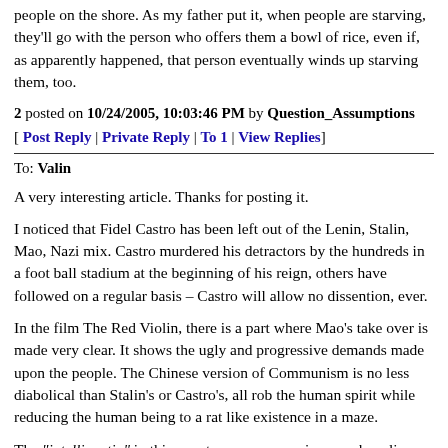people on the shore. As my father put it, when people are starving, they'll go with the person who offers them a bowl of rice, even if, as apparently happened, that person eventually winds up starving them, too.
2 posted on 10/24/2005, 10:03:46 PM by Question_Assumptions [ Post Reply | Private Reply | To 1 | View Replies]
To: Valin
A very interesting article. Thanks for posting it.
I noticed that Fidel Castro has been left out of the Lenin, Stalin, Mao, Nazi mix. Castro murdered his detractors by the hundreds in a foot ball stadium at the beginning of his reign, others have followed on a regular basis – Castro will allow no dissention, ever.
In the film The Red Violin, there is a part where Mao's take over is made very clear. It shows the ugly and progressive demands made upon the people. The Chinese version of Communism is no less diabolical than Stalin's or Castro's, all rob the human spirit while reducing the human being to a rat like existence in a maze.
The "intelligentia" in this country see communism as a bucolic picture much like a Currier and Ives painting in this country; they obviously have never lived under Communist or Marxist rule, they are safe in their Ivory Tower teaching the myth and praising the